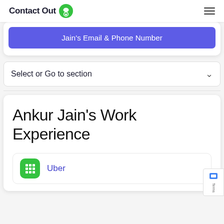ContactOut
Jain's Email & Phone Number
Select or Go to section
Ankur Jain's Work Experience
Uber